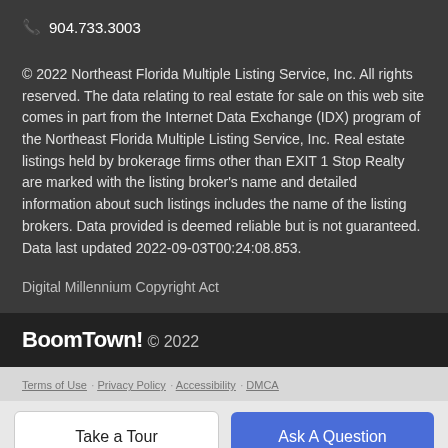📞 904.733.3003
© 2022 Northeast Florida Multiple Listing Service, Inc. All rights reserved. The data relating to real estate for sale on this web site comes in part from the Internet Data Exchange (IDX) program of the Northeast Florida Multiple Listing Service, Inc. Real estate listings held by brokerage firms other than EXIT 1 Stop Realty are marked with the listing broker's name and detailed information about such listings includes the name of the listing brokers. Data provided is deemed reliable but is not guaranteed. Data last updated 2022-09-03T00:24:08.853.
Digital Millennium Copyright Act
BoomTown! © 2022
Terms of Use · Privacy Policy · Accessibility · DMCA
Take a Tour
Ask A Question